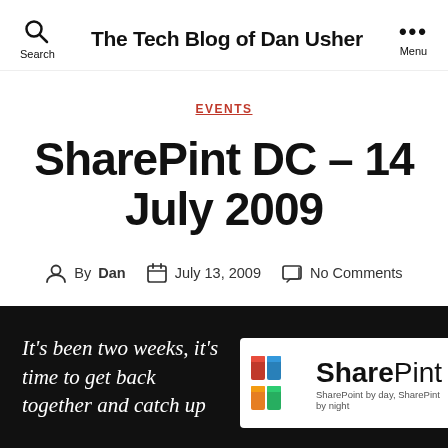The Tech Blog of Dan Usher
EVENTS
SharePint DC – 14 July 2009
By Dan   July 13, 2009   No Comments
It's been two weeks, it's time to get back together and catch up
[Figure (logo): SharePint logo with colorful pint glasses and tagline 'SharePoint by day, SharePint by night']